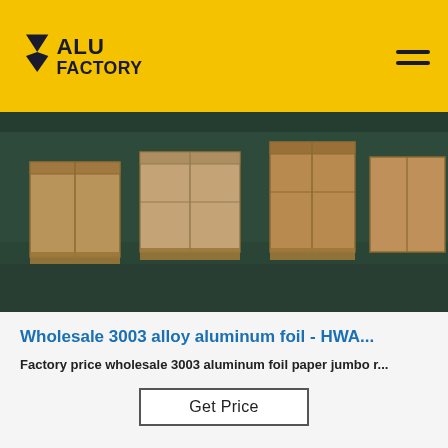ALU FACTORY
[Figure (photo): Warehouse interior showing wooden crates/packaging on a dark green floor]
Wholesale 3003 alloy aluminum foil - HWA...
Factory price wholesale 3003 aluminum foil paper jumbo r...
Get Price
[Figure (photo): Factory floor with stacked wooden pallets on left, large cylindrical equipment/rolls in center, and TOP logo watermark on right]